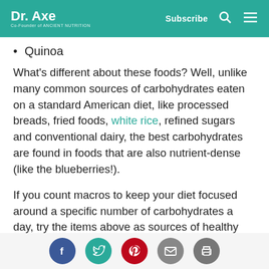Dr. Axe — Co-Founder of Ancient Nutrition | Subscribe
Quinoa
What's different about these foods? Well, unlike many common sources of carbohydrates eaten on a standard American diet, like processed breads, fried foods, white rice, refined sugars and conventional dairy, the best carbohydrates are found in foods that are also nutrient-dense (like the blueberries!).
If you count macros to keep your diet focused around a specific number of carbohydrates a day, try the items above as sources of healthy
Social share buttons: Facebook, Twitter, Pinterest, Email, Print